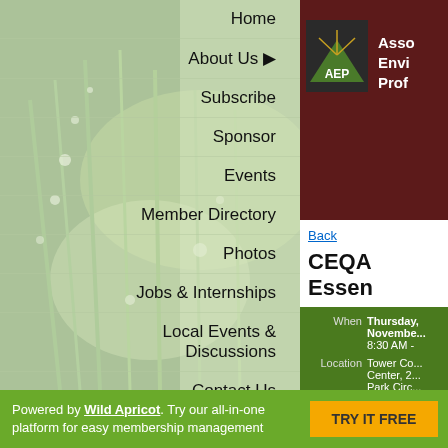[Figure (photo): Green grass/plant close-up photo background with water droplets, forming the left side background of the webpage]
Home
About Us ▶
Subscribe
Sponsor
Events
Member Directory
Photos
Jobs & Internships
Local Events & Discussions
Contact Us
[Figure (logo): AEP (Association of Environmental Professionals) logo - dark maroon background with AEP text and mountain/sun graphic, with partial text Asso Envi Prof visible]
Back
CEQA Essen
| Field | Value |
| --- | --- |
| When | Thursday, November... 8:30 AM - |
| Location | Tower Co... Center, 2... Park Circ... CA |
| Registered | 46 regist... |
Powered by Wild Apricot. Try our all-in-one platform for easy membership management    TRY IT FREE